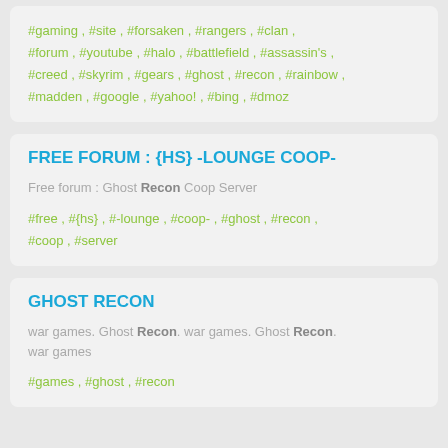#gaming , #site , #forsaken , #rangers , #clan , #forum , #youtube , #halo , #battlefield , #assassin's , #creed , #skyrim , #gears , #ghost , #recon , #rainbow , #madden , #google , #yahoo! , #bing , #dmoz
FREE FORUM : {HS} -LOUNGE COOP-
Free forum : Ghost Recon Coop Server
#free , #{hs} , #-lounge , #coop- , #ghost , #recon , #coop , #server
GHOST RECON
war games. Ghost Recon. war games. Ghost Recon. war games
#games , #ghost , #recon